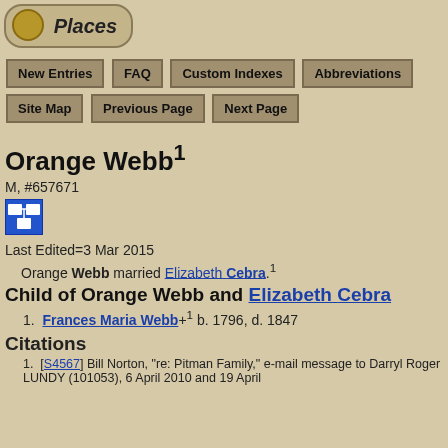[Figure (logo): Places logo with icon and rounded rectangle border]
New Entries | FAQ | Custom Indexes | Abbreviations
Site Map | Previous Page | Next Page
Orange Webb¹
M, #657671
[Figure (infographic): Blue icon box with family tree symbol]
Last Edited=3 Mar 2015
Orange Webb married Elizabeth Cebra.¹
Child of Orange Webb and Elizabeth Cebra
1. Frances Maria Webb+¹ b. 1796, d. 1847
Citations
1. [S4567] Bill Norton, "re: Pitman Family," e-mail message to Darryl Roger LUNDY (101053), 6 April 2010 and 19 April